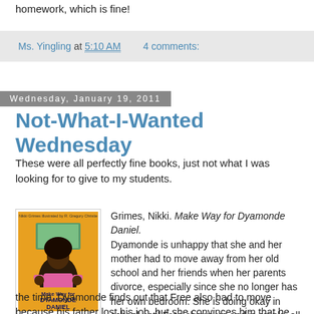homework, which is fine!
Ms. Yingling at 5:10 AM   4 comments:
Wednesday, January 19, 2011
Not-What-I-Wanted Wednesday
These were all perfectly fine books, just not what I was looking for to give to my students.
[Figure (illustration): Book cover of 'Make Way for Dyamonde Daniel' by Nikki Grimes, showing a girl with an orange background]
Grimes, Nikki. Make Way for Dyamonde Daniel. Dyamonde is unhappy that she and her mother had to move away from her old school and her friends when her parents divorce, especially since she no longer has her own bedroom. She is doing okay in school until Free shows up and is cranky all the time. Dyamonde finds out that Free also had to move because his father lost his job, but she convinces him that he should make the best of the situation, and the two become